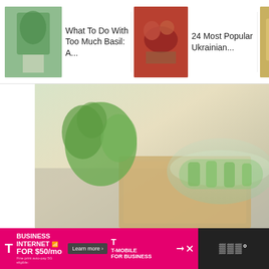What To Do With Too Much Basil: A... | 24 Most Popular Ukrainian... | 21 Different Types of Pasta Sau...
[Figure (photo): Hero image of celery in a glass bowl on burlap with green herbs]
How Long Does Celery Last?
You might be having a hard time answering the question, “How long does celery last?” That's…
Read More
[Figure (other): T-Mobile Business Internet advertisement banner - FOR $50/mo, Learn more, T-Mobile for Business]